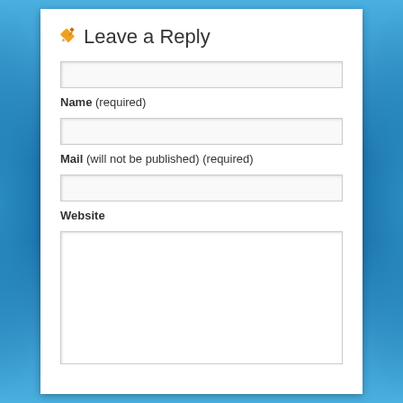✏ Leave a Reply
Name (required)
Mail (will not be published) (required)
Website